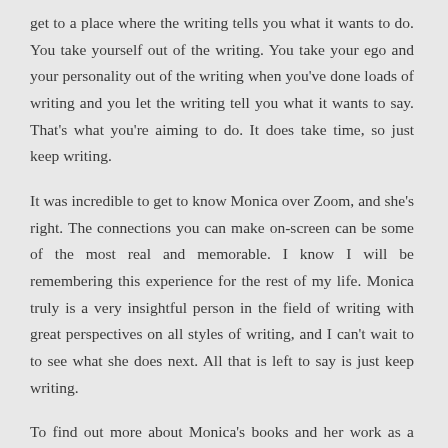get to a place where the writing tells you what it wants to do. You take yourself out of the writing. You take your ego and your personality out of the writing when you've done loads of writing and you let the writing tell you what it wants to say. That's what you're aiming to do. It does take time, so just keep writing.
It was incredible to get to know Monica over Zoom, and she's right. The connections you can make on-screen can be some of the most real and memorable. I know I will be remembering this experience for the rest of my life. Monica truly is a very insightful person in the field of writing with great perspectives on all styles of writing, and I can't wait to to see what she does next. All that is left to say is just keep writing.
To find out more about Monica's books and her work as a practitioner in the healing arts please go to www.monicasuswin.com.